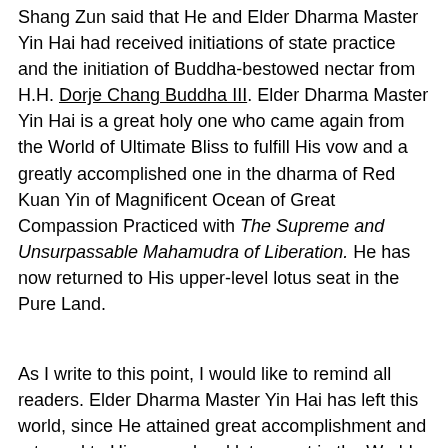Shang Zun said that He and Elder Dharma Master Yin Hai had received initiations of state practice and the initiation of Buddha-bestowed nectar from H.H. Dorje Chang Buddha III. Elder Dharma Master Yin Hai is a great holy one who came again from the World of Ultimate Bliss to fulfill His vow and a greatly accomplished one in the dharma of Red Kuan Yin of Magnificent Ocean of Great Compassion Practiced with The Supreme and Unsurpassable Mahamudra of Liberation. He has now returned to His upper-level lotus seat in the Pure Land.
As I write to this point, I would like to remind all readers. Elder Dharma Master Yin Hai has left this world, since He attained great accomplishment and returned to His upper-level lotus seat in the World of Ultimate Bliss. As cultivators, we should ask: Where is the source of His accomplishment? Can we also attain the accomplishment like Him to go to the lotus seats in the World of Ultimate Bliss? Would H.H. Dorje Chang Buddha III meet me? How should we look for H.H. Dorje Chang Buddha III to take